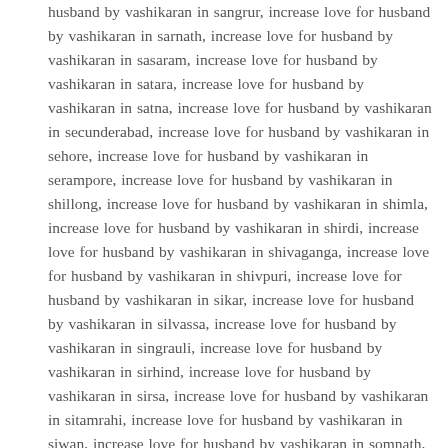husband by vashikaran in sangrur, increase love for husband by vashikaran in sarnath, increase love for husband by vashikaran in sasaram, increase love for husband by vashikaran in satara, increase love for husband by vashikaran in satna, increase love for husband by vashikaran in secunderabad, increase love for husband by vashikaran in sehore, increase love for husband by vashikaran in serampore, increase love for husband by vashikaran in shillong, increase love for husband by vashikaran in shimla, increase love for husband by vashikaran in shirdi, increase love for husband by vashikaran in shivaganga, increase love for husband by vashikaran in shivpuri, increase love for husband by vashikaran in sikar, increase love for husband by vashikaran in silvassa, increase love for husband by vashikaran in singrauli, increase love for husband by vashikaran in sirhind, increase love for husband by vashikaran in sirsa, increase love for husband by vashikaran in sitamrahi, increase love for husband by vashikaran in siwan, increase love for husband by vashikaran in somnath, increase love for husband by vashikaran in sonipat, increase love for husband by vashikaran in sopore, increase love for